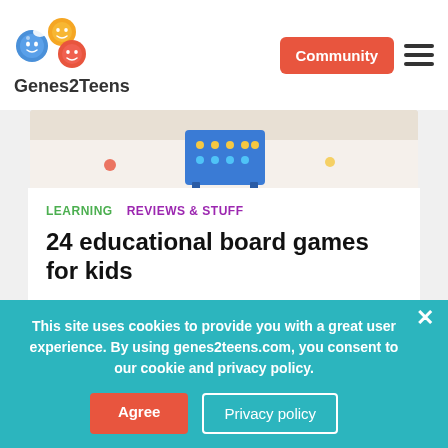[Figure (logo): Genes2Teens website logo with three cartoon face icons in orange, yellow, and blue, and the text Genes2Teens]
Community
[Figure (photo): Top portion of board game photo showing colorful game pieces on a white surface]
LEARNING   REVIEWS & STUFF
24 educational board games for kids
-by Lesley Scott
[Figure (photo): Photo of a child from behind with chevron patterned curtains in background]
This site uses cookies to provide you with a great user experience. By using genes2teens.com, you consent to our cookie and privacy policy.
Agree
Privacy policy